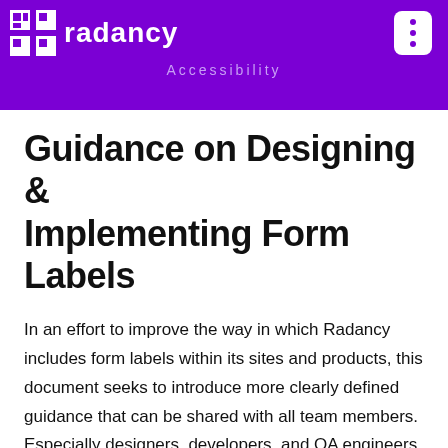[Figure (logo): Radancy logo with purple grid icon and white text on purple background header, with Accessibility subtitle and three-dot menu button]
Guidance on Designing & Implementing Form Labels
In an effort to improve the way in which Radancy includes form labels within its sites and products, this document seeks to introduce more clearly defined guidance that can be shared with all team members. Especially designers, developers, and QA engineers. Inclusion of a proper label is critical and allows more people to understand and use the form. Omission or